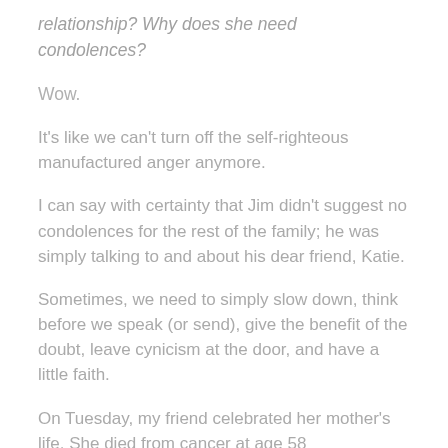relationship? Why does she need condolences?
Wow.
It's like we can't turn off the self-righteous manufactured anger anymore.
I can say with certainty that Jim didn't suggest no condolences for the rest of the family; he was simply talking to and about his dear friend, Katie.
Sometimes, we need to simply slow down, think before we speak (or send), give the benefit of the doubt, leave cynicism at the door, and have a little faith.
On Tuesday, my friend celebrated her mother's life. She died from cancer at age 58...